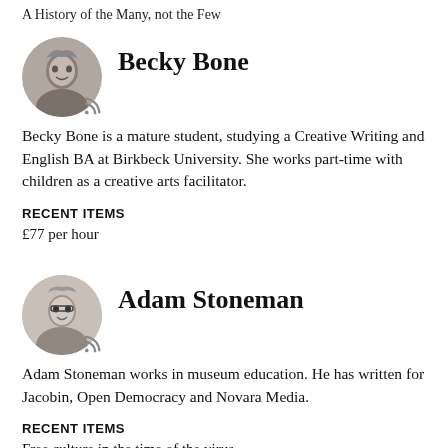A History of the Many, not the Few
Becky Bone
Becky Bone is a mature student, studying a Creative Writing and English BA at Birkbeck University. She works part-time with children as a creative arts facilitator.
RECENT ITEMS
£77 per hour
Adam Stoneman
Adam Stoneman works in museum education. He has written for Jacobin, Open Democracy and Novara Media.
RECENT ITEMS
Free culture in the time of the virus